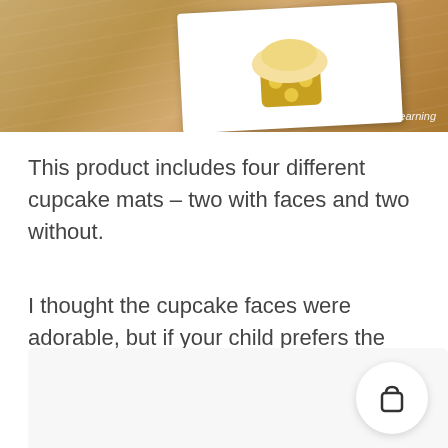[Figure (photo): Photo of a cupcake mat worksheet on a wooden surface, with a cartoon cupcake illustration visible. A watermark in the bottom right reads 'learning'.]
This product includes four different cupcake mats – two with faces and two without.
I thought the cupcake faces were adorable, but if your child prefers the ones that look more like food, no biggie!
[Figure (illustration): A light gray/white panel at the bottom of the page with a shopping bag icon in the bottom right corner inside a circular button.]